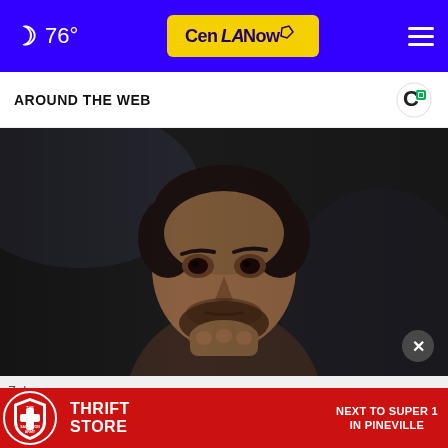🌙 76° — CenLANow logo — hamburger menu
AROUND THE WEB
[Figure (photo): Close-up photo of a man with dark hair and beard, resting his chin on his hand, looking thoughtful against a dark background]
Zele
[Figure (infographic): The Salvation Army Thrift Store advertisement banner — red background with Salvation Army shield logo, text: THRIFT STORE NEXT TO SUPER 1 IN PINEVILLE]